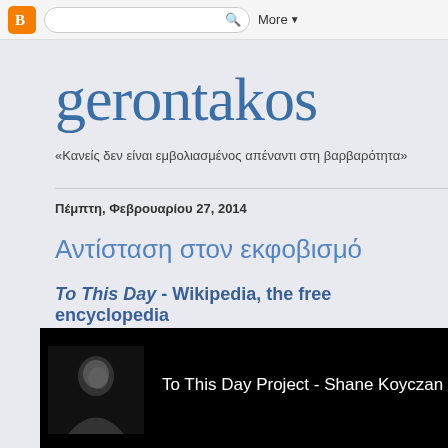Blogger nav bar with search and More button
gerontakos
«Κανείς δεν είναι εμβολιασμένος απέναντι στη βαρβαρότητα»
Πέμπτη, Φεβρουαρίου 27, 2014
Αντίσταση στον εκφοβισμό
To This Day - Wikipedia, the free encyclopedia
[Figure (screenshot): Video thumbnail showing a person's face on black background with text 'To This Day Project - Shane Koyczan']